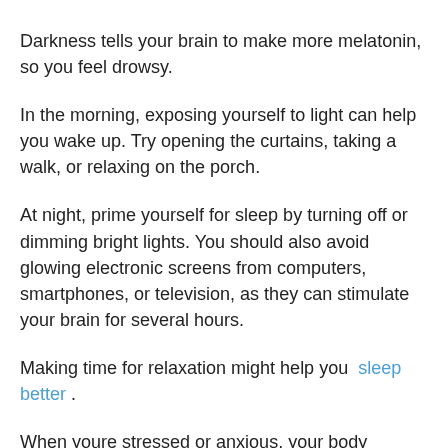Darkness tells your brain to make more melatonin, so you feel drowsy.
In the morning, exposing yourself to light can help you wake up. Try opening the curtains, taking a walk, or relaxing on the porch.
At night, prime yourself for sleep by turning off or dimming bright lights. You should also avoid glowing electronic screens from computers, smartphones, or television, as they can stimulate your brain for several hours.
Making time for relaxation might help you sleep better.
When youre stressed or anxious, your body produces more cortisol, the stress hormone. The higher the cortisol, the